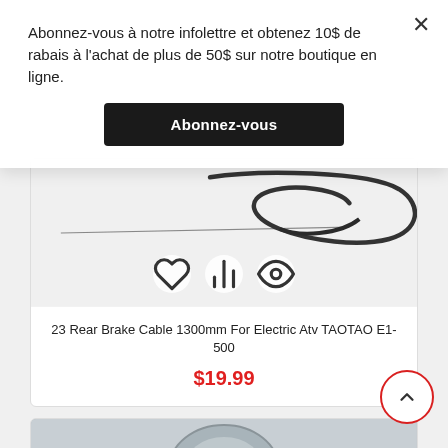Abonnez-vous à notre infolettre et obtenez 10$ de rabais à l'achat de plus de 50$ sur notre boutique en ligne.
Abonnez-vous
[Figure (photo): Photo of a rear brake cable 1300mm for electric ATV, showing a thin metal cable and coiled dark cable on white background. Below the photo are three icon buttons: heart (wishlist), bar chart, and eye (view).]
23 Rear Brake Cable 1300mm For Electric Atv TAOTAO E1-500
$19.99
[Figure (photo): Partial photo of a second product, showing a circular metallic part (likely a wheel hub or bearing) with chrome/silver finish.]